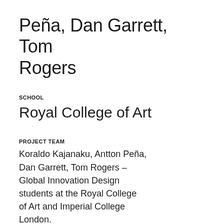Peña, Dan Garrett, Tom Rogers
SCHOOL
Royal College of Art
PROJECT TEAM
Koraldo Kajanaku, Antton Peña, Dan Garrett, Tom Rogers – Global Innovation Design students at the Royal College of Art and Imperial College London.